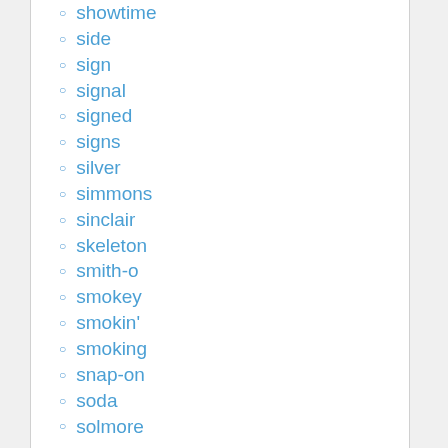showtime
side
sign
signal
signed
signs
silver
simmons
sinclair
skeleton
smith-o
smokey
smokin'
smoking
snap-on
soda
solmore
some
sons
souls